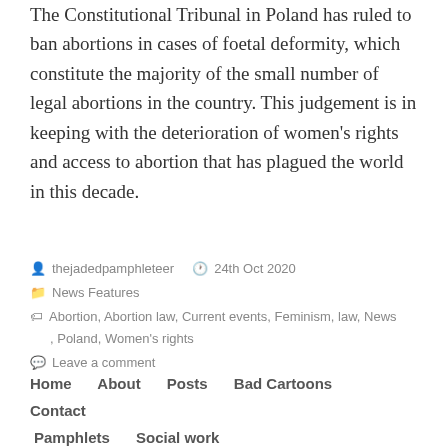The Constitutional Tribunal in Poland has ruled to ban abortions in cases of foetal deformity, which constitute the majority of the small number of legal abortions in the country. This judgement is in keeping with the deterioration of women's rights and access to abortion that has plagued the world in this decade.
thejadedpamphleteer  24th Oct 2020  News Features  Abortion, Abortion law, Current events, Feminism, law, News, Poland, Women's rights  Leave a comment
Home  About  Posts  Bad Cartoons  Contact  Pamphlets  Social work  The Pamphleteer, Blog at WordPress.com.